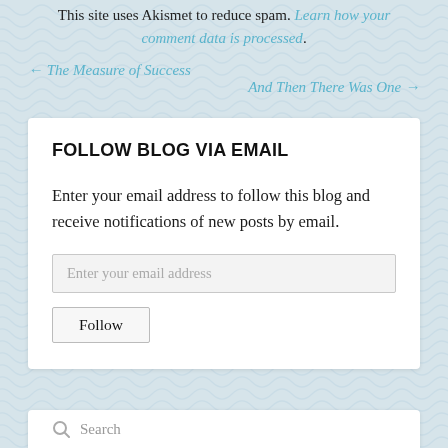This site uses Akismet to reduce spam. Learn how your comment data is processed.
← The Measure of Success
And Then There Was One →
FOLLOW BLOG VIA EMAIL
Enter your email address to follow this blog and receive notifications of new posts by email.
Enter your email address
Follow
Search